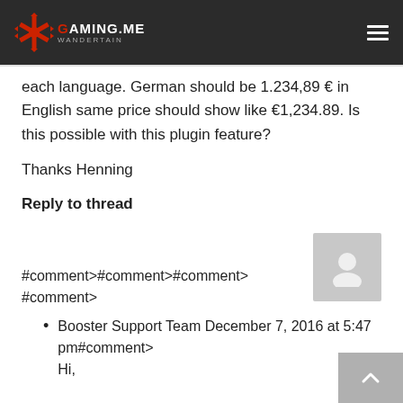GAMING.ME
each language. German should be 1.234,89 € in English same price should show like €1,234.89. Is this possible with this plugin feature?
Thanks Henning
Reply to thread
#comment>#comment>#comment>#comment>
Booster Support Team December 7, 2016 at 5:47 pm#comment>
Hi,